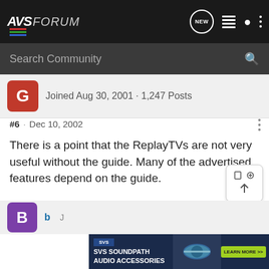AVS FORUM
Search Community
Joined Aug 30, 2001 · 1,247 Posts
#6 · Dec 10, 2002
​There is a point that the ReplayTVs are not very useful without the guide. Many of the advertised features depend on the guide.
b J
[Figure (screenshot): SVS SoundPath Audio Accessories advertisement banner with logo and Learn More button]